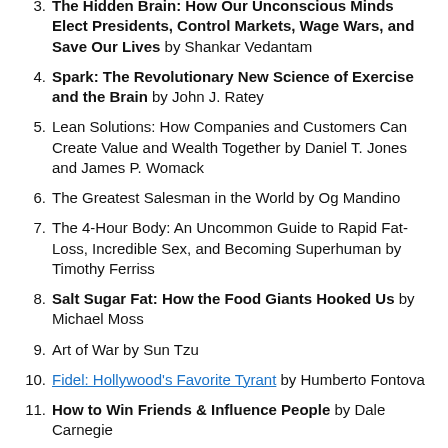3. The Hidden Brain: How Our Unconscious Minds Elect Presidents, Control Markets, Wage Wars, and Save Our Lives by Shankar Vedantam
4. Spark: The Revolutionary New Science of Exercise and the Brain by John J. Ratey
5. Lean Solutions: How Companies and Customers Can Create Value and Wealth Together by Daniel T. Jones and James P. Womack
6. The Greatest Salesman in the World by Og Mandino
7. The 4-Hour Body: An Uncommon Guide to Rapid Fat-Loss, Incredible Sex, and Becoming Superhuman by Timothy Ferriss
8. Salt Sugar Fat: How the Food Giants Hooked Us by Michael Moss
9. Art of War by Sun Tzu
10. Fidel: Hollywood's Favorite Tyrant by Humberto Fontova
11. How to Win Friends & Influence People by Dale Carnegie